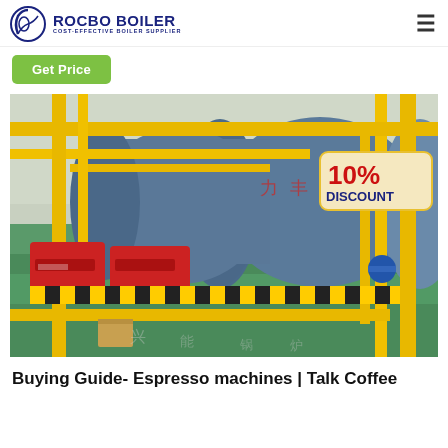ROCBO BOILER - COST-EFFECTIVE BOILER SUPPLIER
Get Price
[Figure (photo): Industrial boiler facility with large blue cylindrical boilers, yellow pipework, red burners, and safety striping on the floor. A '10% DISCOUNT' badge is visible in the upper right corner of the image.]
Buying Guide- Espresso machines | Talk Coffee